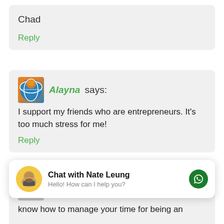Chad
Reply
Alayna says:
I support my friends who are entrepreneurs. It's too much stress for me!
Reply
Karmin says:
[Figure (infographic): Chat widget with Nate Leung avatar, title 'Chat with Nate Leung', subtitle 'Hello! How can I help you?' and a green messenger icon]
know how to manage your time for being an